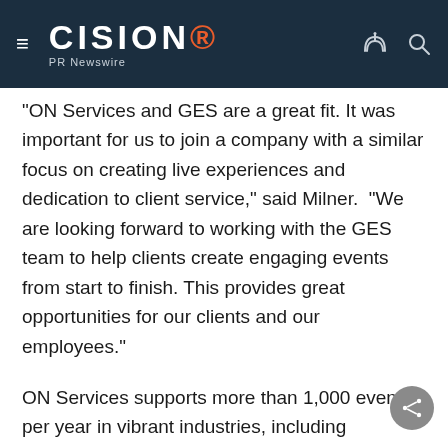CISION PR Newswire
"ON Services and GES are a great fit. It was important for us to join a company with a similar focus on creating live experiences and dedication to client service," said Milner.  "We are looking forward to working with the GES team to help clients create engaging events from start to finish. This provides great opportunities for our clients and our employees."
ON Services supports more than 1,000 events per year in vibrant industries, including technology, automotive, and oil and gas, complementing GES' strength and experience in these markets. Its more than 800 clients include major corporations such as